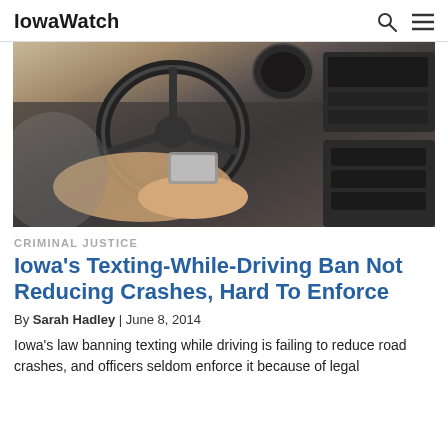IowaWatch
[Figure (photo): Person texting on a phone while sitting in the driver's seat of a car, hands near the steering wheel.]
CRIMINAL JUSTICE
Iowa's Texting-While-Driving Ban Not Reducing Crashes, Hard To Enforce
By Sarah Hadley | June 8, 2014
Iowa's law banning texting while driving is failing to reduce road crashes, and officers seldom enforce it because of legal